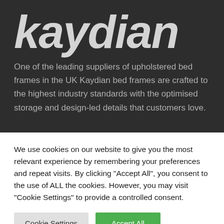[Figure (logo): Kaydian brand logo in large italic white/grey text on dark background]
One of the leading suppliers of upholstered bed frames in the UK Kaydian bed frames are crafted to the highest industry standards with the optimised storage and design-led details that customers love.
We use cookies on our website to give you the most relevant experience by remembering your preferences and repeat visits. By clicking "Accept All", you consent to the use of ALL the cookies. However, you may visit "Cookie Settings" to provide a controlled consent.